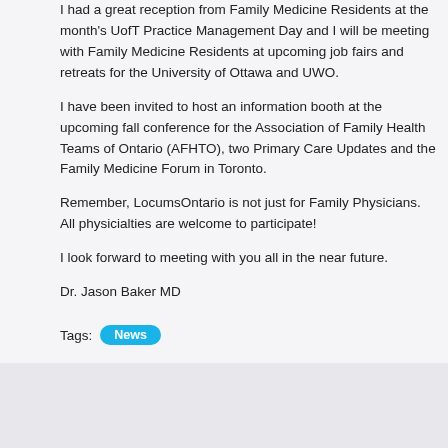I had a great reception from Family Medicine Residents at the month's UofT Practice Management Day and I will be meeting with Family Medicine Residents at upcoming job fairs and retreats for the University of Ottawa and UWO.
I have been invited to host an information booth at the upcoming fall conference for the Association of Family Health Teams of Ontario (AFHTO), two Primary Care Updates and the Family Medicine Forum in Toronto.
Remember, LocumsOntario is not just for Family Physicians. All physician specialties are welcome to participate!
I look forward to meeting with you all in the near future.
Dr. Jason Baker MD
Tags: News
PAIRO recognizes LocumsOntario!
Posted 10 years ago
In a bold decision by their Council, PAIRO - the Professional Association of Internes and Residents of Ontario - has recognized LocumsOntario as a valuable asset to it senior and graduating members.